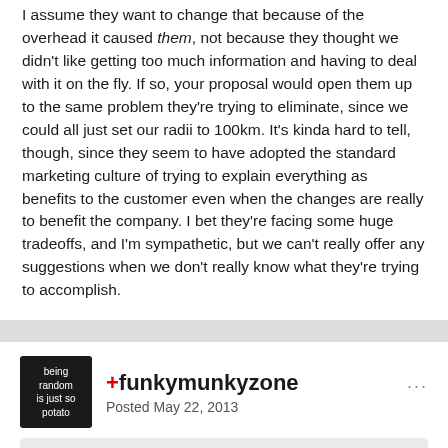I assume they want to change that because of the overhead it caused them, not because they thought we didn't like getting too much information and having to deal with it on the fly. If so, your proposal would open them up to the same problem they're trying to eliminate, since we could all just set our radii to 100km. It's kinda hard to tell, though, since they seem to have adopted the standard marketing culture of trying to explain everything as benefits to the customer even when the changes are really to benefit the company. I bet they're facing some huge tradeoffs, and I'm sympathetic, but we can't really offer any suggestions when we don't really know what they're trying to accomplish.
+funkymunkyzone
Posted May 22, 2013
On 5/21/2013 at 6:45 AM, ColleIsarco said:
But only 20 Caches is a ridiculous small amount. There had been more than 600 new caches announced each week before the site update. Ok, that has been to much, but i think a maximum distance of 20 km would be fine if 5 caches are the limit. It should be...